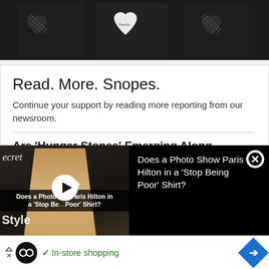[Figure (photo): Dark-colored t-shirts with heart graphics on a dark background]
Read. More. Snopes.
Continue your support by reading more reporting from our newsroom.
Are 'Hunger Stones' Emerging Along Europe's Rivers Due to 2022 Drought?
Partially visible article title below
[Figure (screenshot): Video overlay showing Paris Hilton with caption 'Does a Photo Show Paris Hilton in a Stop Being Poor Shirt?' with play button, brand overlays for Secret and Style]
Does a Photo Show Paris Hilton in a 'Stop Being Poor' Shirt?
[Figure (infographic): Ad bar at bottom with circular logo, checkmark, 'In-store shopping' text, and blue diamond navigation icon]